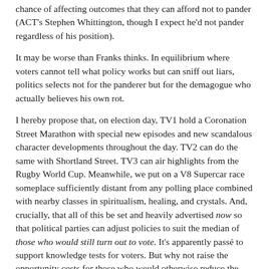chance of affecting outcomes that they can afford not to pander (ACT's Stephen Whittington, though I expect he'd not pander regardless of his position).
It may be worse than Franks thinks. In equilibrium where voters cannot tell what policy works but can sniff out liars, politics selects not for the panderer but for the demagogue who actually believes his own rot.
I hereby propose that, on election day, TV1 hold a Coronation Street Marathon with special new episodes and new scandalous character developments throughout the day. TV2 can do the same with Shortland Street. TV3 can air highlights from the Rugby World Cup. Meanwhile, we put on a V8 Supercar race someplace sufficiently distant from any polling place combined with nearby classes in spiritualism, healing, and crystals. And, crucially, that all of this be set and heavily advertised now so that political parties can adjust policies to suit the median of those who would still turn out to vote. It's apparently passé to support knowledge tests for voters. But why not raise the opportunity costs for those who would otherwise reduce the average quality of the ballot?